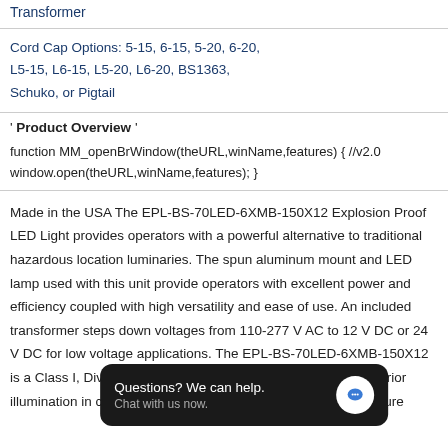Transformer
Cord Cap Options: 5-15, 6-15, 5-20, 6-20, L5-15, L6-15, L5-20, L6-20, BS1363, Schuko, or Pigtail
Product Overview
function MM_openBrWindow(theURL,winName,features) { //v2.0 window.open(theURL,winName,features); }
Made in the USA The EPL-BS-70LED-6XMB-150X12 Explosion Proof LED Light provides operators with a powerful alternative to traditional hazardous location luminaries. The spun aluminum mount and LED lamp used with this unit provide operators with excellent power and efficiency coupled with high versatility and ease of use. An included transformer steps down voltages from 110-277 V AC to 12 V DC or 24 V DC for low voltage applications. The EPL-BS-70LED-6XMB-150X12 is a Class I, Division 2 explosion proof light fixture that is designed for superior illumination in combustible environments. This 50-watt LED fixture